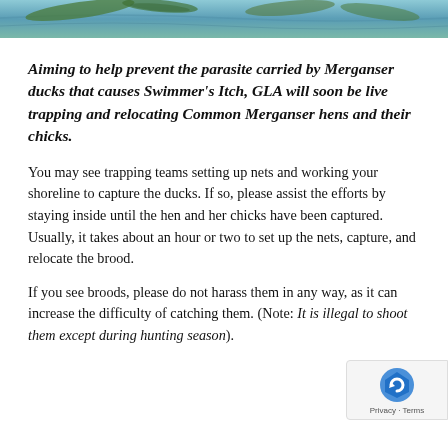[Figure (photo): Partial image of water/lake with green vegetation, cropped at top of page]
Aiming to help prevent the parasite carried by Merganser ducks that causes Swimmer's Itch, GLA will soon be live trapping and relocating Common Merganser hens and their chicks.
You may see trapping teams setting up nets and working your shoreline to capture the ducks. If so, please assist the efforts by staying inside until the hen and her chicks have been captured. Usually, it takes about an hour or two to set up the nets, capture, and relocate the brood.
If you see broods, please do not harass them in any way, as it can increase the difficulty of catching them. (Note: It is illegal to shoot them except during hunting season).